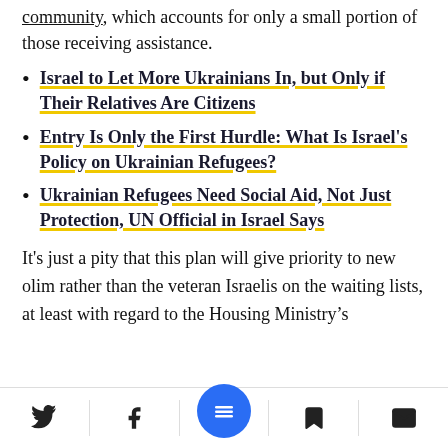community, which accounts for only a small portion of those receiving assistance.
Israel to Let More Ukrainians In, but Only if Their Relatives Are Citizens
Entry Is Only the First Hurdle: What Is Israel's Policy on Ukrainian Refugees?
Ukrainian Refugees Need Social Aid, Not Just Protection, UN Official in Israel Says
It’s just a pity that this plan will give priority to new olim rather than the veteran Israelis on the waiting lists, at least with regard to the Housing Ministry’s aimed housing for the
Twitter | Facebook | Menu | Bookmark | Mail